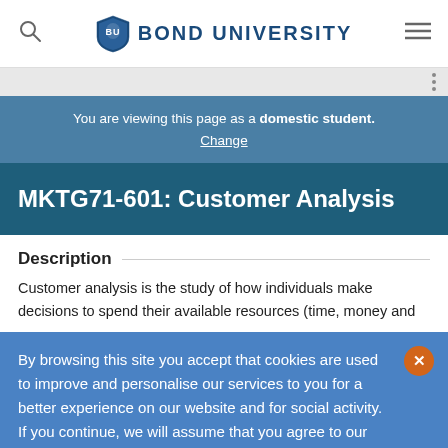BOND UNIVERSITY
You are viewing this page as a domestic student. Change
MKTG71-601: Customer Analysis
Description
Customer analysis is the study of how individuals make decisions to spend their available resources (time, money and
By browsing this site you accept that cookies are used to improve and personalise our services to you for a better experience on our website and for social activity. If you continue, we will assume that you agree to our use of cookies statement.